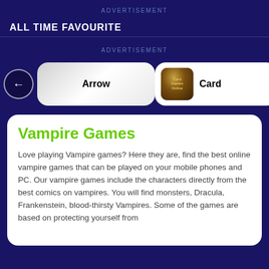ADVERTISEMENT
ALL TIME FAVOURITE
ADVERTISEMENT
[Figure (screenshot): Navigation row showing left arrow button, Arrow game card (white rounded rectangle), Card Games Online game card (white rounded rectangle with thumbnail image), and right arrow/next button with green icon]
Vampire Games
Love playing Vampire games? Here they are, find the best online vampire games that can be played on your mobile phones and PC. Our vampire games include the characters directly from the best comics on vampires. You will find monsters, Dracula, Frankenstein, blood-thirsty Vampires. Some of the games are based on protecting yourself from